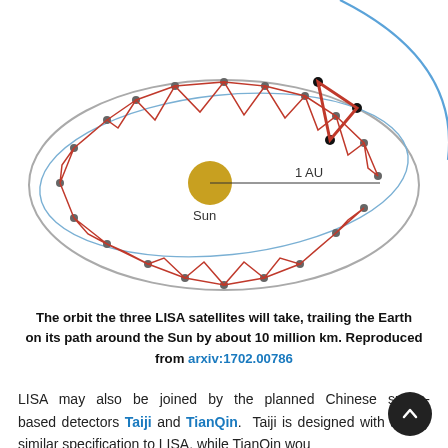[Figure (schematic): Diagram showing the orbit of three LISA satellites trailing the Earth around the Sun. An ellipse represents Earth's orbit (1 AU). A golden circle at center-left represents the Sun. Multiple grey dots connected by red triangular formations are spread around the orbit ring. The upper-right portion highlights one red triangle (the LISA constellation) with black dots at its vertices. A blue arc curves in the upper right corner.]
The orbit the three LISA satellites will take, trailing the Earth on its path around the Sun by about 10 million km. Reproduced from arxiv:1702.00786
LISA may also be joined by the planned Chinese space-based detectors Taiji and TianQin. Taiji is designed with a very similar specification to LISA, while TianQin would be a smaller constellation orbiting the Earth at a distance of